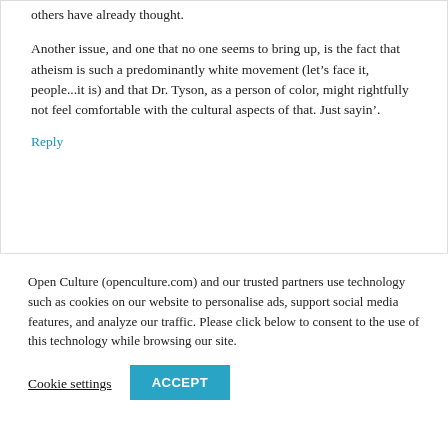others have already thought.
Another issue, and one that no one seems to bring up, is the fact that atheism is such a predominantly white movement (let’s face it, people...it is) and that Dr. Tyson, as a person of color, might rightfully not feel comfortable with the cultural aspects of that. Just sayin’.
Reply
Sayuri Kirin says:
Open Culture (openculture.com) and our trusted partners use technology such as cookies on our website to personalise ads, support social media features, and analyze our traffic. Please click below to consent to the use of this technology while browsing our site.
Cookie settings
ACCEPT